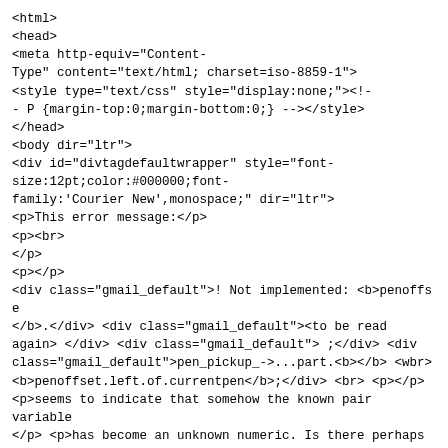<html>
<head>
<meta http-equiv="Content-Type" content="text/html; charset=iso-8859-1">
<style type="text/css" style="display:none;"><!-- P {margin-top:0;margin-bottom:0;} --></style>
</head>
<body dir="ltr">
<div id="divtagdefaultwrapper" style="font-size:12pt;color:#000000;font-family:'Courier New',monospace;" dir="ltr">
<p>This error message:</p>
<p><br>
</p>
<p></p>
<div class="gmail_default">! Not implemented: <b>penoffse</b>.</div>
<div class="gmail_default"><to be read again> </div>
<div class="gmail_default">                              ;</div>
<div class="gmail_default">pen_pickup_->...part.<b></b>
<wbr><b>penoffset.left.of.currentpen</b>;</div>
<br>
<p></p>
<p>seems to indicate that somehow the known pair variable</p>
</p>
<p>has become an unknown numeric. Is there perhaps a comn</p>
</p>
<p>as<br>
</p>
<p>   .save_left:</p>